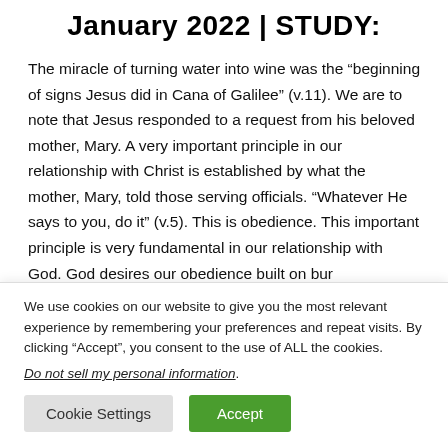January 2022 | STUDY:
The miracle of turning water into wine was the “beginning of signs Jesus did in Cana of Galilee” (v.11). We are to note that Jesus responded to a request from his beloved mother, Mary. A very important principle in our relationship with Christ is established by what the mother, Mary, told those serving officials. “Whatever He says to you, do it” (v.5). This is obedience. This important principle is very fundamental in our relationship with God. God desires our obedience built on bur
We use cookies on our website to give you the most relevant experience by remembering your preferences and repeat visits. By clicking “Accept”, you consent to the use of ALL the cookies.
Do not sell my personal information.
Cookie Settings   Accept